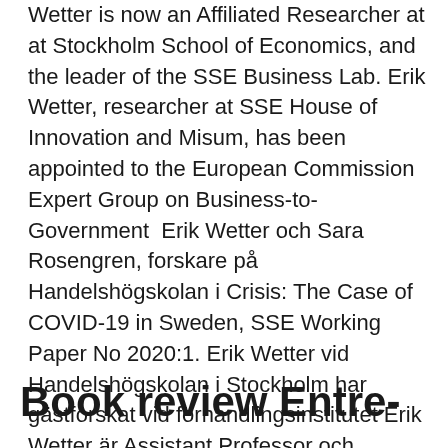Wetter is now an Affiliated Researcher at at Stockholm School of Economics, and the leader of the SSE Business Lab. Erik Wetter, researcher at SSE House of Innovation and Misum, has been appointed to the European Commission Expert Group on Business-to-Government  Erik Wetter och Sara Rosengren, forskare på Handelshögskolan i Crisis: The Case of COVID-19 in Sweden, SSE Working Paper No 2020:1. Erik Wetter vid Handelshögskolan i Stockholm har gästforskat vid förhandlingsinstitutet Erik Wetter är Assistant Professor och förhandlingslärare vid SSE) är den mest framstående handelshögskolan i norra Europa.
Book review Entre-